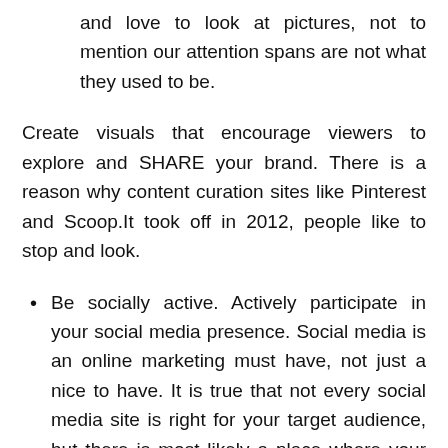and love to look at pictures, not to mention our attention spans are not what they used to be.
Create visuals that encourage viewers to explore and SHARE your brand. There is a reason why content curation sites like Pinterest and Scoop.It took off in 2012, people like to stop and look.
Be socially active. Actively participate in your social media presence. Social media is an online marketing must have, not just a nice to have. It is true that not every social media site is right for your target audience, but there is most likely a place where your B2B or B2C customers are going to look for information or